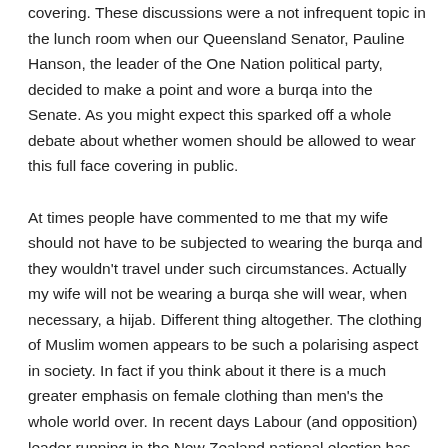covering. These discussions were a not infrequent topic in the lunch room when our Queensland Senator, Pauline Hanson, the leader of the One Nation political party, decided to make a point and wore a burqa into the Senate. As you might expect this sparked off a whole debate about whether women should be allowed to wear this full face covering in public.

At times people have commented to me that my wife should not have to be subjected to wearing the burqa and they wouldn't travel under such circumstances. Actually my wife will not be wearing a burqa she will wear, when necessary, a hijab. Different thing altogether. The clothing of Muslim women appears to be such a polarising aspect in society. In fact if you think about it there is a much greater emphasis on female clothing than men's the whole world over. In recent days Labour (and opposition) leader running in the New Zealand national election has been asked